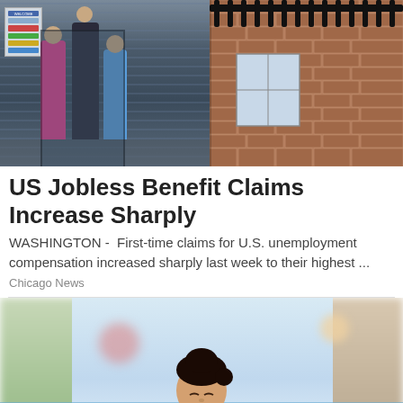[Figure (photo): Photo showing people (one in blue suit, one in pink jacket, one in blue shirt) entering a building with signs, and a brick building with iron fence on the right]
US Jobless Benefit Claims Increase Sharply
WASHINGTON -  First-time claims for U.S. unemployment compensation increased sharply last week to their highest ...
Chicago News
[Figure (photo): Photo of a smiling woman with dark hair in an outdoor pool or spa with white foam/bubbles around her, blurred background with greenery and buildings]